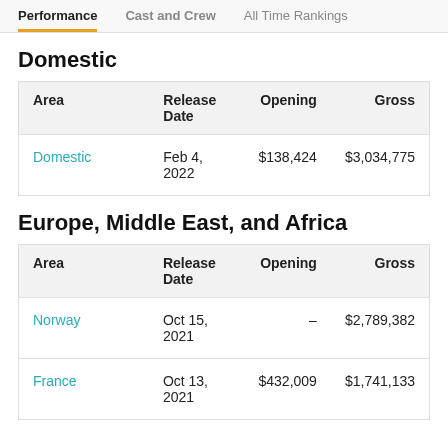Performance | Cast and Crew | All Time Rankings
Domestic
| Area | Release Date | Opening | Gross |
| --- | --- | --- | --- |
| Domestic | Feb 4, 2022 | $138,424 | $3,034,775 |
Europe, Middle East, and Africa
| Area | Release Date | Opening | Gross |
| --- | --- | --- | --- |
| Norway | Oct 15, 2021 | – | $2,789,382 |
| France | Oct 13, 2021 | $432,009 | $1,741,133 |